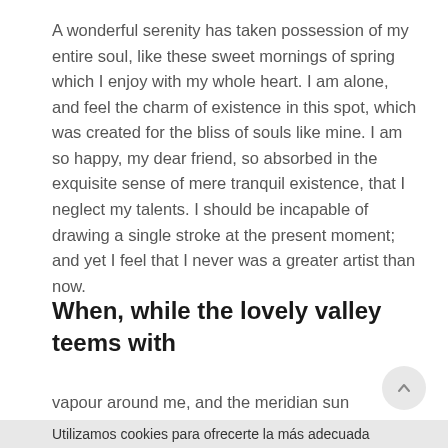A wonderful serenity has taken possession of my entire soul, like these sweet mornings of spring which I enjoy with my whole heart. I am alone, and feel the charm of existence in this spot, which was created for the bliss of souls like mine. I am so happy, my dear friend, so absorbed in the exquisite sense of mere tranquil existence, that I neglect my talents. I should be incapable of drawing a single stroke at the present moment; and yet I feel that I never was a greater artist than now.
When, while the lovely valley teems with
vapour around me, and the meridian sun
Utilizamos cookies para ofrecerte la más adecuada